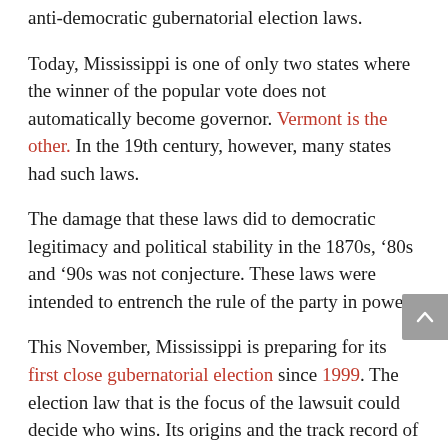anti-democratic gubernatorial election laws.
Today, Mississippi is one of only two states where the winner of the popular vote does not automatically become governor. Vermont is the other. In the 19th century, however, many states had such laws.
The damage that these laws did to democratic legitimacy and political stability in the 1870s, ‘80s and ’90s was not conjecture. These laws were intended to entrench the rule of the party in power.
This November, Mississippi is preparing for its first close gubernatorial election since 1999. The election law that is the focus of the lawsuit could decide who wins. Its origins and the track record of similar laws in more competitive states bear investigation.